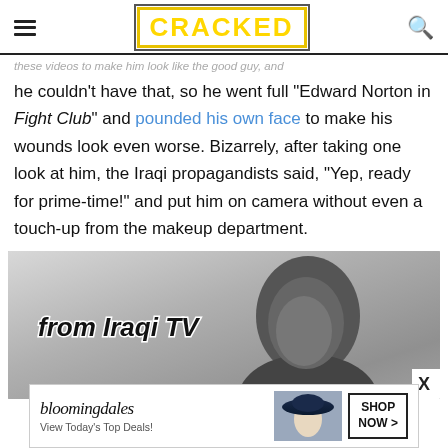CRACKED
these videos to make him look like the good guy, and he couldn't have that, so he went full "Edward Norton in Fight Club" and pounded his own face to make his wounds look even worse. Bizarrely, after taking one look at him, the Iraqi propagandists said, "Yep, ready for prime-time!" and put him on camera without even a touch-up from the makeup department.
[Figure (photo): Black and white photo showing a person's head, with text overlay reading 'from Iraqi TV']
[Figure (other): Bloomingdale's advertisement banner: 'bloomingdales View Today's Top Deals!' with image of woman in hat and SHOP NOW > button]